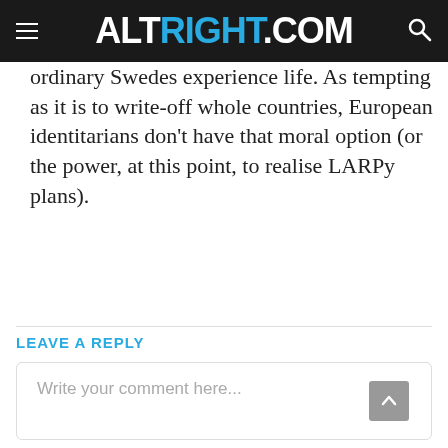ALTRIGHT.COM
ordinary Swedes experience life. As tempting as it is to write-off whole countries, European identitarians don’t have that moral option (or the power, at this point, to realise LARPy plans).
LEAVE A REPLY
Write your comment here...